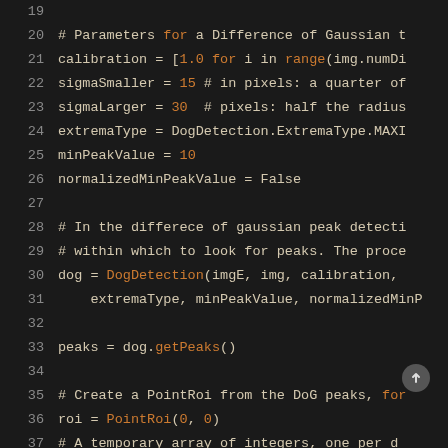[Figure (screenshot): Code editor screenshot showing Python code lines 19-38 with dark background. Lines show parameters for a Difference of Gaussian detection algorithm including calibration, sigmaSmaller, sigmaLarger, extremaType, minPeakValue, normalizedMinPeakValue variables, DogDetection call, getPeaks() call, PointRoi creation, and zeros array initialization.]